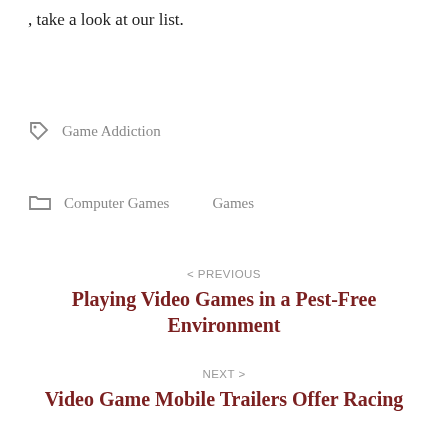, take a look at our list.
Game Addiction
Computer Games    Games
< PREVIOUS
Playing Video Games in a Pest-Free Environment
NEXT >
Video Game Mobile Trailers Offer Racing